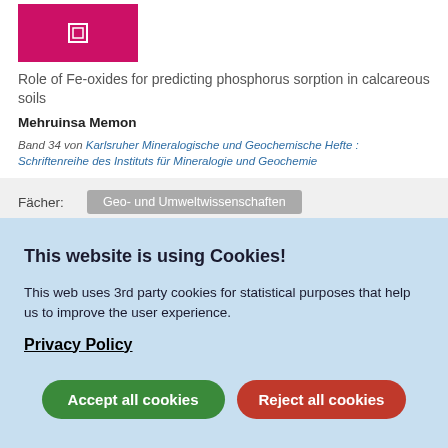[Figure (illustration): Pink/magenta book cover with a small white square icon]
Role of Fe-oxides for predicting phosphorus sorption in calcareous soils
Mehruinsa Memon
Band 34 von Karlsruher Mineralogische und Geochemische Hefte : Schriftenreihe des Instituts für Mineralogie und Geochemie
Fächer: Geo- und Umweltwissenschaften
This website is using Cookies!
This web uses 3rd party cookies for statistical purposes that help us to improve the user experience.
Privacy Policy
Accept all cookies
Reject all cookies